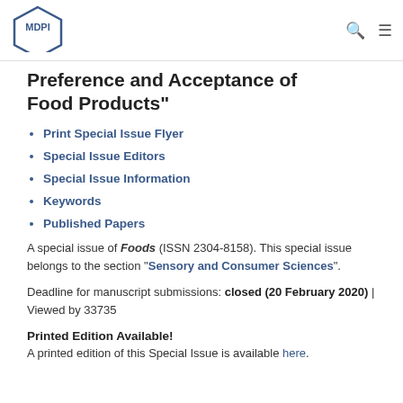MDPI
Preference and Acceptance of Food Products"
Print Special Issue Flyer
Special Issue Editors
Special Issue Information
Keywords
Published Papers
A special issue of Foods (ISSN 2304-8158). This special issue belongs to the section "Sensory and Consumer Sciences".
Deadline for manuscript submissions: closed (20 February 2020) | Viewed by 33735
Printed Edition Available!
A printed edition of this Special Issue is available here.